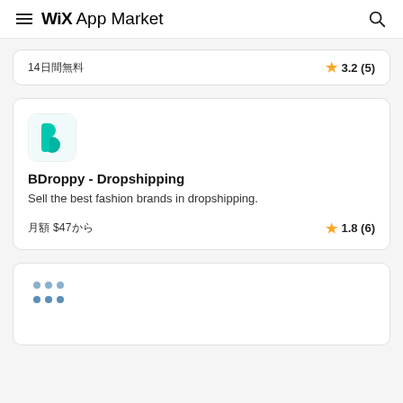Wix App Market
14日間無料 ★ 3.2 (5)
[Figure (logo): BDroppy app icon - teal letter B logo on white rounded square background]
BDroppy - Dropshipping
Sell the best fashion brands in dropshipping.
月額 $47から ★ 1.8 (6)
[Figure (logo): App icon with blue/grey dots grid pattern on white rounded square background]